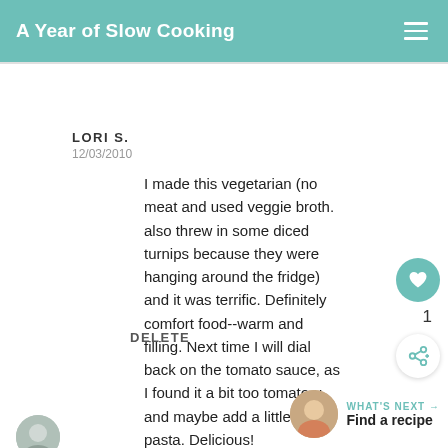A Year of Slow Cooking
LORI S.
12/03/2010
I made this vegetarian (no meat and used veggie broth. also threw in some diced turnips because they were hanging around the fridge) and it was terrific. Definitely comfort food--warm and filling. Next time I will dial back on the tomato sauce, as I found it a bit too tomato-y, and maybe add a little more pasta. Delicious!
DELETE
1
WHAT'S NEXT → Find a recipe